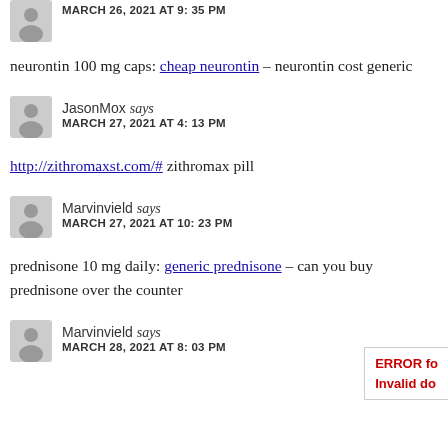MARCH 26, 2021 AT 9:35 PM
neurontin 100 mg caps: cheap neurontin – neurontin cost generic
JasonMox says
MARCH 27, 2021 AT 4:13 PM
http://zithromaxst.com/# zithromax pill
Marvinvield says
MARCH 27, 2021 AT 10:23 PM
prednisone 10 mg daily: generic prednisone – can you buy prednisone over the counter
Marvinvield says
MARCH 28, 2021 AT 8:03 PM
ERROR fo
Invalid do